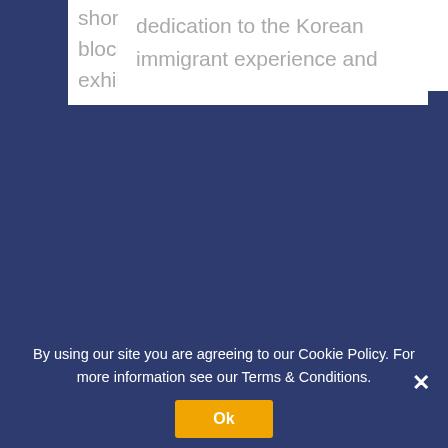short films amid the feature blockbusters, which is why the wide exhibition of Pedro Almodóvar's
dedication to the Korean immigrant experience and
e and & Th i/we ours ago
obeat Beatles rock the stage at South Mill Arts. From the depths of the Cavern, through Be... twitter.com/i/web/status/1... 1 day ago
By using our site you are agreeing to our Cookie Policy. For more information see our Terms & Conditions.
Ok